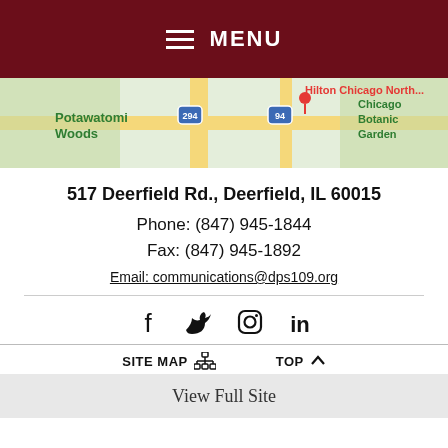MENU
[Figure (map): Google Maps screenshot showing Hilton Chicago North area with Potawatomi Woods, Chicago Botanic Garden, and highway routes 294 and 94]
517 Deerfield Rd., Deerfield, IL 60015
Phone: (847) 945-1844
Fax: (847) 945-1892
Email: communications@dps109.org
[Figure (other): Social media icons: Facebook, Twitter, Instagram, LinkedIn]
SITE MAP   TOP
View Full Site